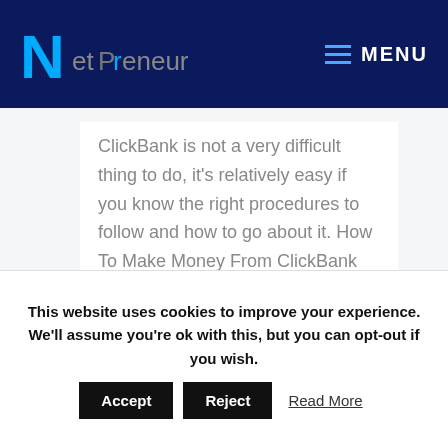Netpreneur — MENU
ClickBank is not a very difficult thing to do, it's relatively easy if you know the right procedures to follow and how to go about it. How To Make Money From ClickBank Clickbank is one...
This website uses cookies to improve your experience. We'll assume you're ok with this, but you can opt-out if you wish. Accept Reject Read More